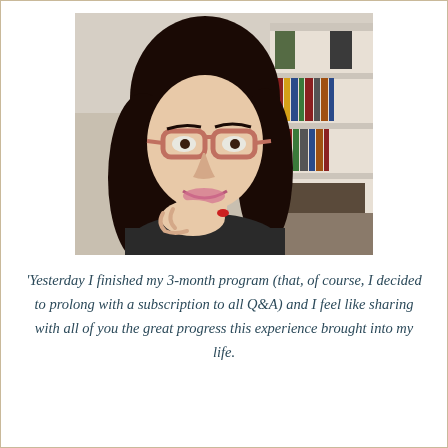[Figure (photo): A smiling woman with long dark hair and large rose-colored glasses, resting her chin on her hand, photographed indoors in front of a white bookshelf with items on shelves.]
'Yesterday I finished my 3-month program (that, of course, I decided to prolong with a subscription to all Q&A) and I feel like sharing with all of you the great progress this experience brought into my life.